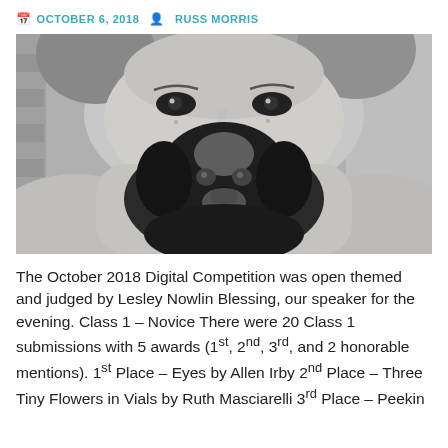OCTOBER 6, 2018   RUSS MORRIS
[Figure (photo): Black and white close-up photo of a freckled girl holding a small puppy (black and white dog) close to her face, looking directly at the camera.]
The October 2018 Digital Competition was open themed and judged by Lesley Nowlin Blessing, our speaker for the evening. Class 1 – Novice There were 20 Class 1 submissions with 5 awards (1st, 2nd, 3rd, and 2 honorable mentions). 1st Place – Eyes by Allen Irby 2nd Place – Three Tiny Flowers in Vials by Ruth Masciarelli 3rd Place – Peekin